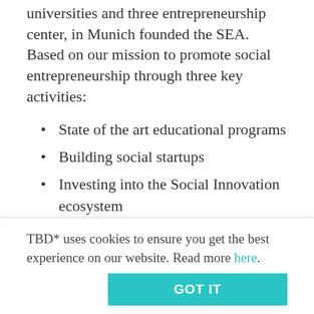universities and three entrepreneurship center, in Munich founded the SEA. Based on our mission to promote social entrepreneurship through three key activities:
State of the art educational programs
Building social startups
Investing into the Social Innovation ecosystem
Our main goal is to provide students, young
TBD* uses cookies to ensure you get the best experience on our website. Read more here.